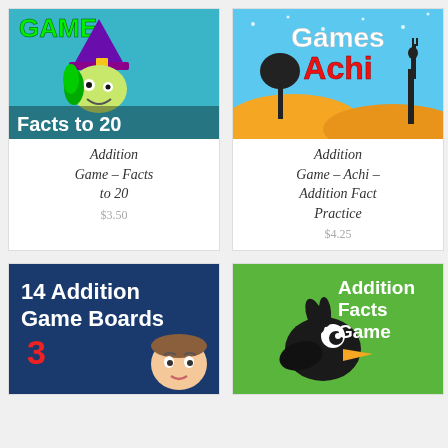[Figure (illustration): Addition Game – Facts to 20 product thumbnail: cartoon witch with green hair on teal/blue background, text 'GAME' and 'Facts to 20']
Addition Game – Facts to 20
$3.50
[Figure (illustration): Addition Game – Achi – Addition Fact Practice product thumbnail: African savanna scene with giraffe silhouette, text 'Games Achi' in red]
Addition Game – Achi – Addition Fact Practice
$4.25
[Figure (illustration): 14 Addition Game Boards 3 product thumbnail: dark blue background with bold white text '14 Addition Game Boards' and red '3', cartoon boy]
[Figure (illustration): Addition Facts Game product thumbnail: green background with cartoon black bird, bold white text 'Addition Facts Game']